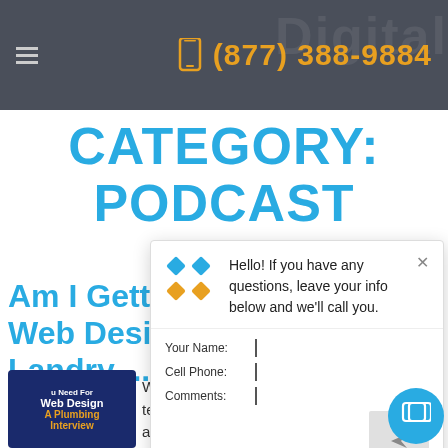(877) 388-9884
CATEGORY: PODCAST
Am I Ge... Web De... Landry ...
[Figure (illustration): Podcast thumbnail: dark blue circle with text 'You Need For Web Design - A Plumbing Interview']
Website design may feel like an artsy fartsy, technical world, but the best websites are always grounded in practicality. That's
[Figure (screenshot): Chat widget popup with logo, greeting message, name/phone/comments form fields, and send button]